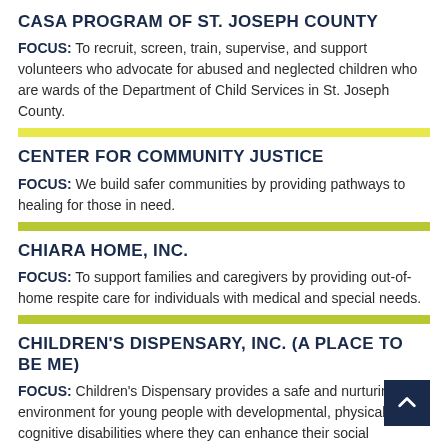CASA PROGRAM OF ST. JOSEPH COUNTY
FOCUS: To recruit, screen, train, supervise, and support volunteers who advocate for abused and neglected children who are wards of the Department of Child Services in St. Joseph County.
CENTER FOR COMMUNITY JUSTICE
FOCUS: We build safer communities by providing pathways to healing for those in need.
CHIARA HOME, INC.
FOCUS: To support families and caregivers by providing out-of-home respite care for individuals with medical and special needs.
CHILDREN'S DISPENSARY, INC. (A PLACE TO BE ME)
FOCUS: Children's Dispensary provides a safe and nurturing environment for young people with developmental, physical, and cognitive disabilities where they can enhance their social interactions, learn important life skills, and enjoy new experie…